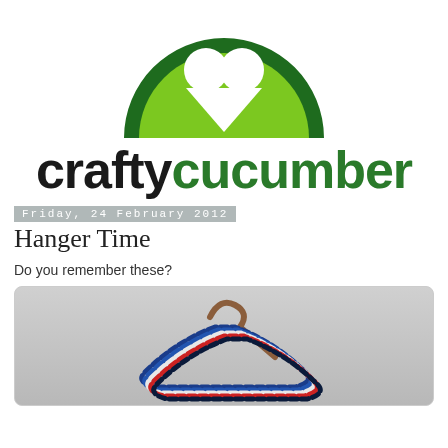[Figure (logo): Crafty Cucumber logo: green semicircle with heart shape on top, text 'crafty' in black bold and 'cucumber' in dark green bold]
Friday, 24 February 2012
Hanger Time
Do you remember these?
[Figure (photo): Photo of colorful yarn-wrapped coat hangers (blue, white, red) on a plain hanger hook against a grey background]